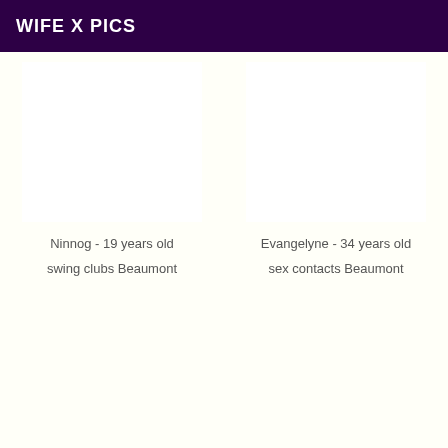WIFE X PICS
Ninnog - 19 years old
swing clubs Beaumont
Evangelyne - 34 years old
sex contacts Beaumont